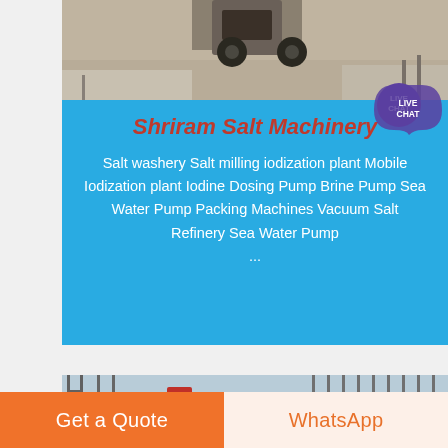[Figure (photo): Top portion of industrial/salt machinery site photo, showing ground and machinery parts against sandy terrain]
Shriram Salt Machinery
Salt washery Salt milling iodization plant Mobile Iodization plant Iodine Dosing Pump Brine Pump Sea Water Pump Packing Machines Vacuum Salt Refinery Sea Water Pump ...
[Figure (photo): Construction site with steel scaffolding, yellow cranes/machinery and red elements visible]
Get a Quote
WhatsApp